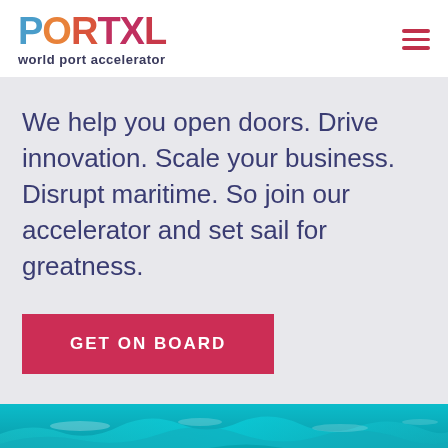[Figure (logo): PortXL world port accelerator logo with multicolor gradient letters]
We help you open doors. Drive innovation. Scale your business. Disrupt maritime. So join our accelerator and set sail for greatness.
GET ON BOARD
[Figure (photo): Ocean waves photo, teal/turquoise water]